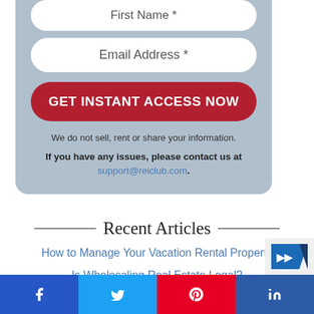First Name *
Email Address *
GET INSTANT ACCESS NOW
We do not sell, rent or share your information.
If you have any issues, please contact us at support@reiclub.com.
Recent Articles
How to Manage Your Vacation Rental Property
Is Wholesaling Real Estate Legal?
Hyperinflation and Real Estate